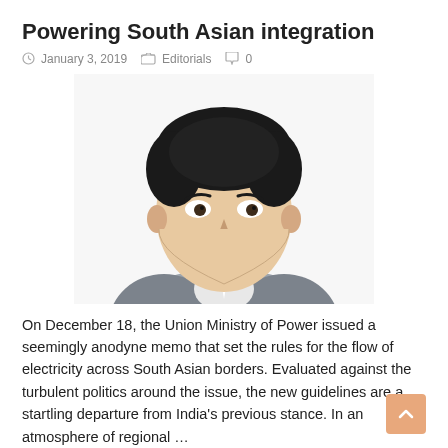Powering South Asian integration
January 3, 2019   Editorials   0
[Figure (illustration): Digital illustration / artistic portrait of a young South Asian man in a suit, rendered in a comic/vector art style with black outlines and flat shading.]
On December 18, the Union Ministry of Power issued a seemingly anodyne memo that set the rules for the flow of electricity across South Asian borders. Evaluated against the turbulent politics around the issue, the new guidelines are a startling departure from India's previous stance. In an atmosphere of regional …
Read More »